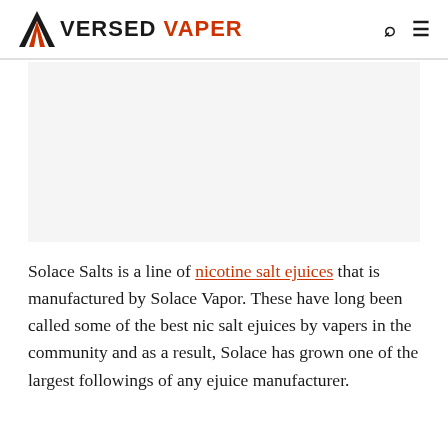VERSED VAPER
[Figure (other): Blank/white image placeholder area below the header navigation]
Solace Salts is a line of nicotine salt ejuices that is manufactured by Solace Vapor. These have long been called some of the best nic salt ejuices by vapers in the community and as a result, Solace has grown one of the largest followings of any ejuice manufacturer.